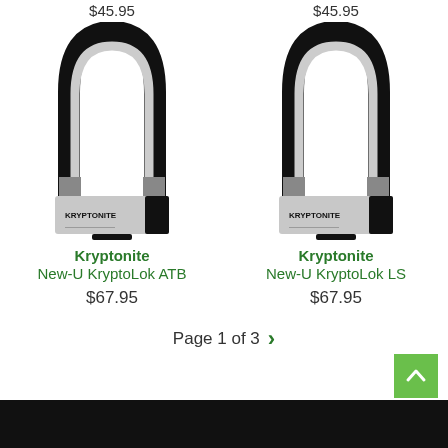$45.95    $45.95
[Figure (photo): Kryptonite U-lock (New-U KryptoLok ATB) — black shackle with silver/black body showing KRYPTONITE brand label]
Kryptonite
New-U KryptoLok ATB
$67.95
[Figure (photo): Kryptonite U-lock (New-U KryptoLok LS) — black shackle with silver/black body showing KRYPTONITE brand label]
Kryptonite
New-U KryptoLok LS
$67.95
Page 1 of 3 >